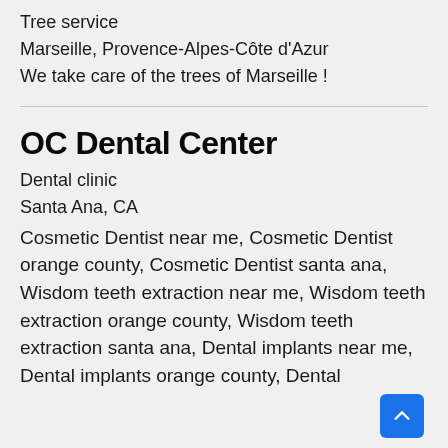Tree service
Marseille, Provence-Alpes-Côte d'Azur
We take care of the trees of Marseille !
OC Dental Center
Dental clinic
Santa Ana, CA
Cosmetic Dentist near me, Cosmetic Dentist orange county, Cosmetic Dentist santa ana, Wisdom teeth extraction near me, Wisdom teeth extraction orange county, Wisdom teeth extraction santa ana, Dental implants near me, Dental implants orange county, Dental